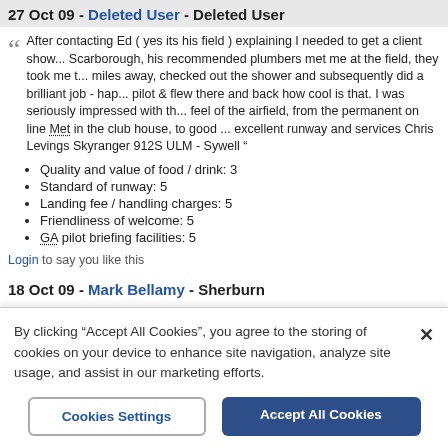27 Oct 09 - Deleted User - Deleted User
After contacting Ed ( yes its his field ) explaining I needed to get a client show... Scarborough, his recommended plumbers met me at the field, they took me t... miles away, checked out the shower and subsequently did a brilliant job - hap... pilot & flew there and back how cool is that. I was seriously impressed with th... feel of the airfield, from the permanent on line Met in the club house, to good ... excellent runway and services Chris Levings Skyranger 912S ULM - Sywell "
Quality and value of food / drink: 3
Standard of runway: 5
Landing fee / handling charges: 5
Friendliness of welcome: 5
GA pilot briefing facilities: 5
Login to say you like this
18 Oct 09 - Mark Bellamy - Sherburn
I have been over to Eddsfield a couple of times now, and thoroughly recomme... area. The trees on the approach to 27 are psychologically daunting but no rea... suspect the climb out on 09 might be a different matter - especially on a still d... The landing fee (£5 in the honesty box) is an absolute giveaway for this area...
By clicking “Accept All Cookies”, you agree to the storing of cookies on your device to enhance site navigation, analyze site usage, and assist in our marketing efforts.